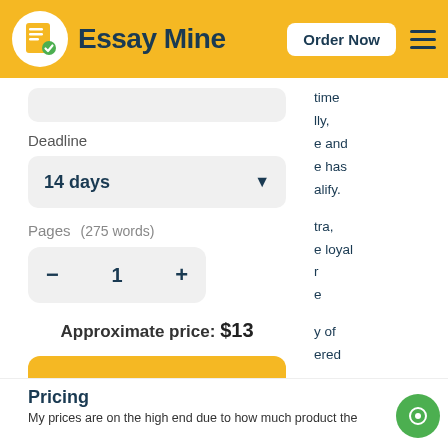Essay Mine   Order Now
Deadline
14 days
Pages   (275 words)
1
Approximate price: $13
Continue to order
Pricing
My prices are on the high end due to how much product the